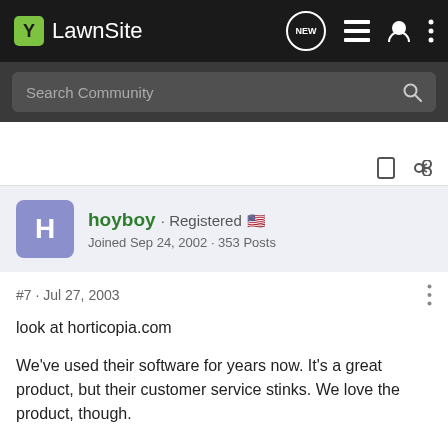LawnSite
Search Community
hoyboy · Registered
Joined Sep 24, 2002 · 353 Posts
#7 · Jul 27, 2003
look at horticopia.com
We've used their software for years now. It's a great product, but their customer service stinks. We love the product, though.
Dan